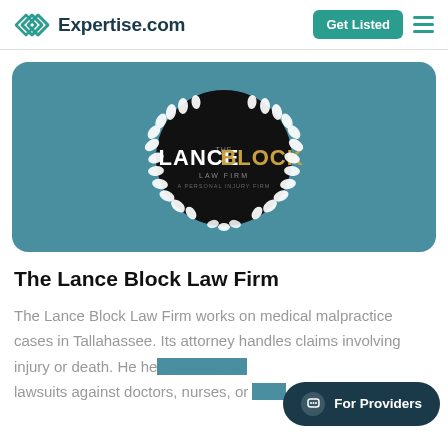Expertise.com | Get Listed
[Figure (logo): The Lance Block Law Firm logo — black circle with white laurel wreath and law firm name text, on a teal/slate blue rounded rectangle background]
The Lance Block Law Firm
The Lance Block Law Firm works on medical malpractice cases in Tallahassee. Its attorney handles claims involving injury or death. He he[lps clients file] lawsuits against doctors, nurses, or [other medical professionals]